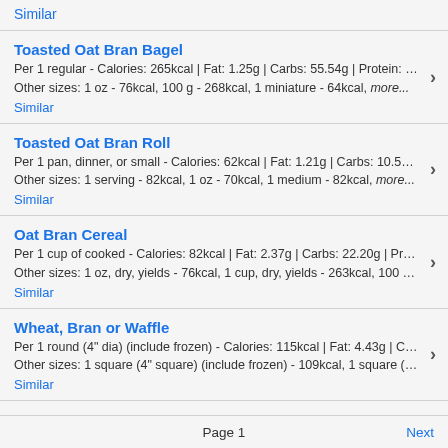Similar
Toasted Oat Bran Bagel
Per 1 regular - Calories: 265kcal | Fat: 1.25g | Carbs: 55.54g | Protein: …
Other sizes: 1 oz - 76kcal, 100 g - 268kcal, 1 miniature - 64kcal, more...
Similar
Toasted Oat Bran Roll
Per 1 pan, dinner, or small - Calories: 62kcal | Fat: 1.21g | Carbs: 10.5…
Other sizes: 1 serving - 82kcal, 1 oz - 70kcal, 1 medium - 82kcal, more...
Similar
Oat Bran Cereal
Per 1 cup of cooked - Calories: 82kcal | Fat: 2.37g | Carbs: 22.20g | Pr…
Other sizes: 1 oz, dry, yields - 76kcal, 1 cup, dry, yields - 263kcal, 100 …
Similar
Wheat, Bran or Waffle
Per 1 round (4" dia) (include frozen) - Calories: 115kcal | Fat: 4.43g | C…
Other sizes: 1 square (4" square) (include frozen) - 109kcal, 1 square (…
Similar
Page 1    Next